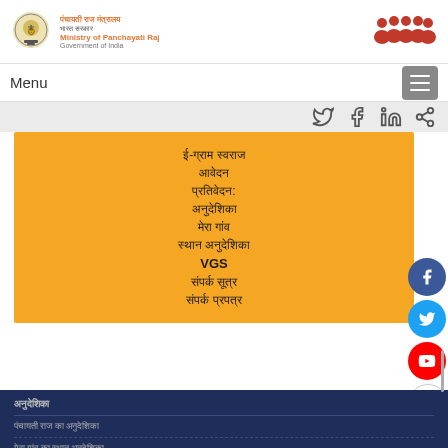[Figure (logo): Indian government emblem (Ashoka Pillar) on left, with Ministry of Panchayati Raj text in Hindi and English, and people icon on right]
Menu
[Figure (infographic): Social media icons: Twitter, Facebook, LinkedIn, share]
ई-ग्राम स्वराज
आवेदन
प्रतिवेदन:
अनुदेशिका
मेरा गांव
स्थान अनुदेशिका
VGS
संपर्क सूत्र
संपर्क प्रपत्र
अनुदेशिका
पंचायती राज का अनुदेशिका
मेरा गांव का स्थान अनुदेशिका
संपर्क सूत्र